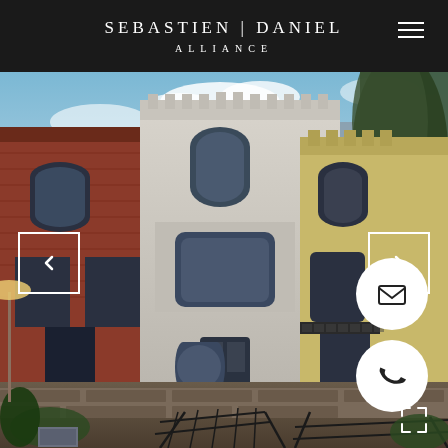SEBASTIEN | DANIEL ALLIANCE
[Figure (photo): Row of historic townhouses on a city street. Center house is painted white/light grey, left house is brick red, right house is yellow. Victorian architecture with bay windows, arched windows, ornate cornices. Black metal railings and steps in foreground. Trees visible in background against blue sky.]
[Figure (other): Left navigation arrow (chevron left) in white square outline overlay on photo]
[Figure (other): Right navigation arrow (chevron right) in white square outline overlay on photo]
[Figure (other): Circular white button with envelope/email icon]
[Figure (other): Circular white button with telephone/phone icon]
[Figure (other): Fullscreen expand icon in white at bottom right]